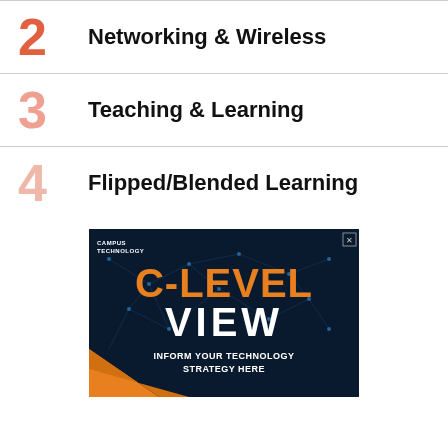2 Networking & Wireless
3 Teaching & Learning
4 Flipped/Blended Learning
[Figure (illustration): Campus Technology C-Level View advertisement banner with dark blue network background, orange C-LEVEL text, white VIEW text, and tagline INFORM YOUR TECHNOLOGY STRATEGY HERE]